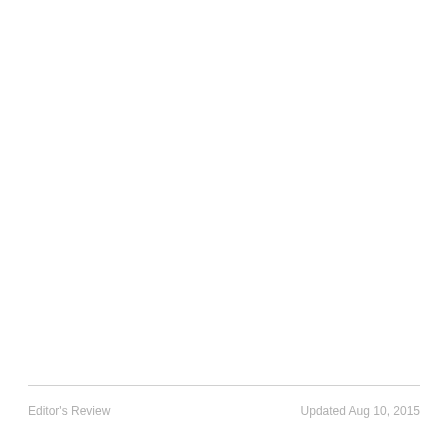Editor's Review    Updated Aug 10, 2015